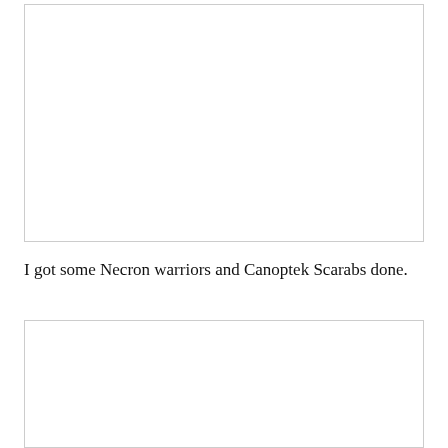[Figure (photo): A white/blank image placeholder box at the top of the page]
I got some Necron warriors and Canoptek Scarabs done.
[Figure (photo): A white/blank image placeholder box at the bottom of the page]